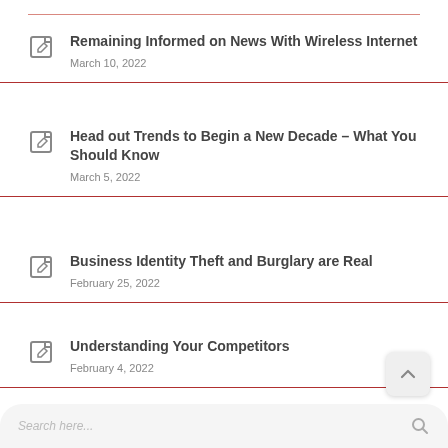Remaining Informed on News With Wireless Internet
March 10, 2022
Head out Trends to Begin a New Decade – What You Should Know
March 5, 2022
Business Identity Theft and Burglary are Real
February 25, 2022
Understanding Your Competitors
February 4, 2022